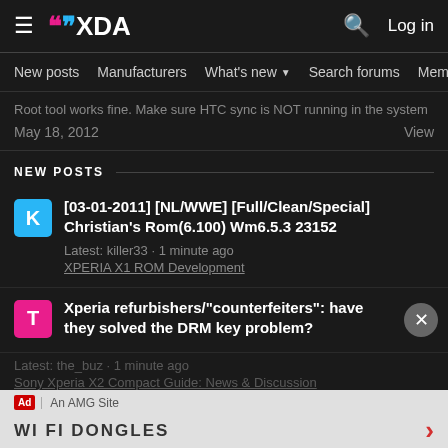XDA Developers — New posts
Root tool works fine. Make sure HTC sync is NOT running in the system
May 18, 2012   View
NEW POSTS
[03-01-2011] [NL/WWE] [Full/Clean/Special] Christian's Rom(6.100) Wm6.5.3 23152
Latest: killer33 · 1 minute ago
XPERIA X1 ROM Development
Xperia refurbishers/"counterfeiters": have they solved the DRM key problem?
Latest: the_buz · 1 minute ago
Sony Xperia X2 Compact Guide: News & Discussion
WI FI DONGLES
[ROM][7.1.2][FINAL] ViperOS V3.1.1 for HLTExxx v7.4
Latest: nite_69 · 2 minutes ago